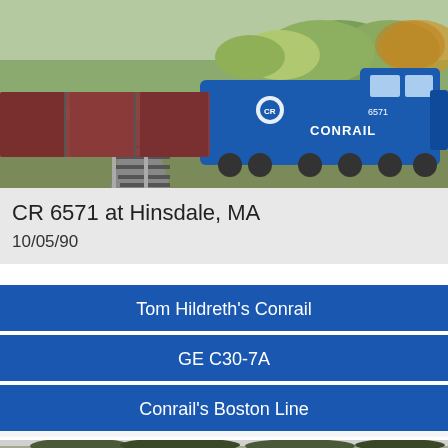[Figure (photo): Aerial/elevated view of a blue Conrail locomotive (CR 6571) pulling a freight train through a rural area with autumn foliage trees and a dirt road alongside the tracks at Hinsdale, MA on 10/05/90.]
CR 6571 at Hinsdale, MA
10/05/90
Tom Hildreth's Conrail
GE C30-7A
Conrail's Boston Line
[Figure (photo): Black and white photo (partially visible at bottom) showing a train line with trees in the background.]